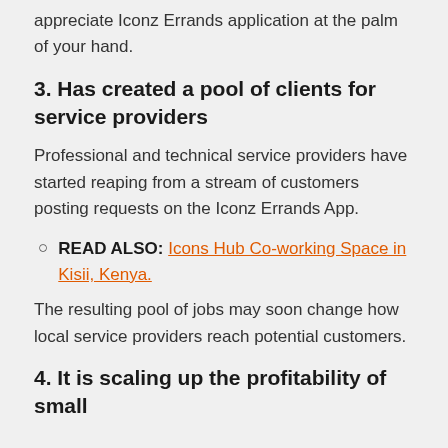appreciate Iconz Errands application at the palm of your hand.
3. Has created a pool of clients for service providers
Professional and technical service providers have started reaping from a stream of customers posting requests on the Iconz Errands App.
READ ALSO: Icons Hub Co-working Space in Kisii, Kenya.
The resulting pool of jobs may soon change how local service providers reach potential customers.
4. It is scaling up the profitability of small